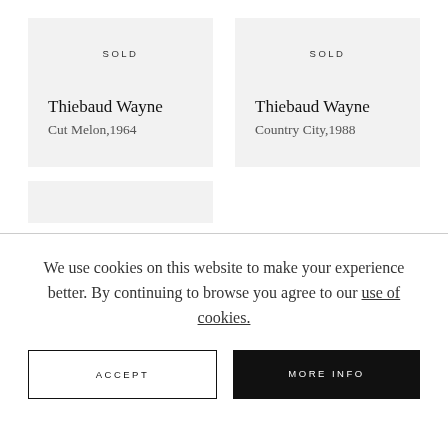SOLD
Thiebaud Wayne
Cut Melon,1964
SOLD
Thiebaud Wayne
Country City,1988
We use cookies on this website to make your experience better. By continuing to browse you agree to our use of cookies.
ACCEPT
MORE INFO